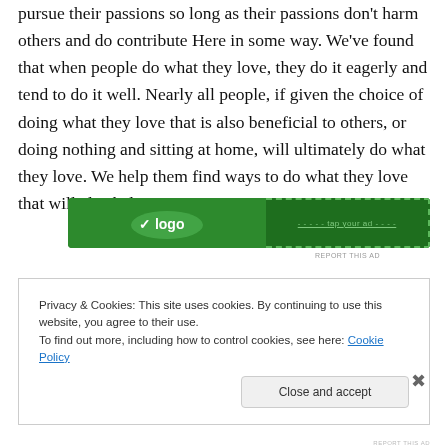pursue their passions so long as their passions don't harm others and do contribute Here in some way. We've found that when people do what they love, they do it eagerly and tend to do it well. Nearly all people, if given the choice of doing what they love that is also beneficial to others, or doing nothing and sitting at home, will ultimately do what they love. We help them find ways to do what they love that will also help Here.
[Figure (other): Green advertisement banner with logo on left and dashed button text on right]
REPORT THIS AD
Privacy & Cookies: This site uses cookies. By continuing to use this website, you agree to their use.
To find out more, including how to control cookies, see here: Cookie Policy
Close and accept
REPORT THIS AD